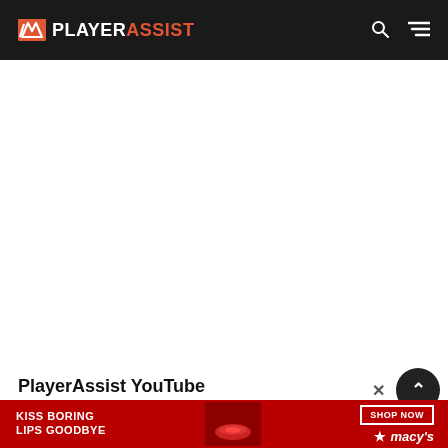PLAYER ASSIST
[Figure (other): Large white blank content area below the header, representing an advertisement or embedded media placeholder]
PlayerAssist YouTube
[Figure (other): Macy's advertisement banner with text 'KISS BORING LIPS GOODBYE' and 'SHOP NOW' button with Macy's star logo, red background with woman's face]